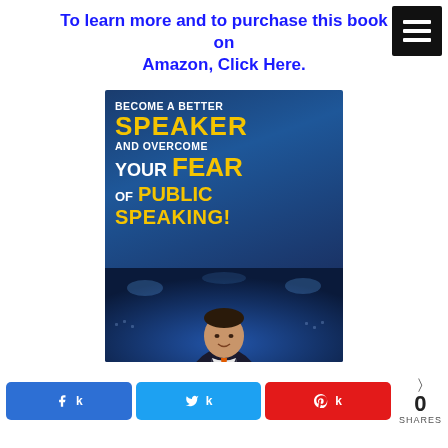To learn more and to purchase this book on Amazon, Click Here.
[Figure (illustration): Book cover: 'Become a Better Speaker and Overcome Your Fear of Public Speaking!' with dark blue background, yellow and white bold text, and an author photo below in front of an audience]
[Figure (logo): Social share buttons: Facebook (blue), Twitter (cyan), Pinterest (red), and share count showing 0 SHARES]